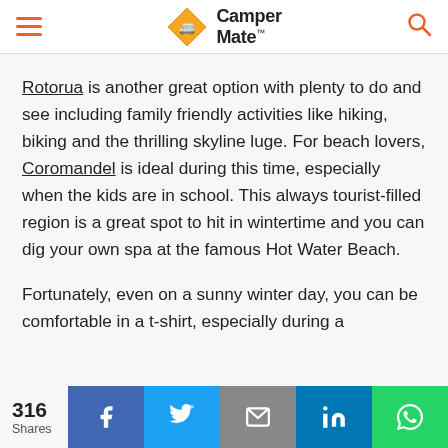CamperMate
Rotorua is another great option with plenty to do and see including family friendly activities like hiking, biking and the thrilling skyline luge. For beach lovers, Coromandel is ideal during this time, especially when the kids are in school. This always tourist-filled region is a great spot to hit in wintertime and you can dig your own spa at the famous Hot Water Beach.
Fortunately, even on a sunny winter day, you can be comfortable in a t-shirt, especially during a
316 Shares | Facebook | Twitter | Email | LinkedIn | WhatsApp